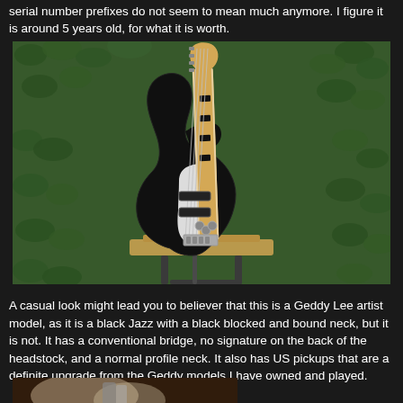serial number prefixes do not seem to mean much anymore. I figure it is around 5 years old, for what it is worth.
[Figure (photo): Black Fender Jazz bass guitar with maple neck featuring black block inlays, white pickguard, on a guitar stand against a green leafy background]
A casual look might lead you to believer that this is a Geddy Lee artist model, as it is a black Jazz with a black blocked and bound neck, but it is not. It has a conventional bridge, no signature on the back of the headstock, and a normal profile neck. It also has US pickups that are a definite upgrade from the Geddy models I have owned and played.
[Figure (photo): Partial photo of guitar headstock and neck, cropped at bottom of page]